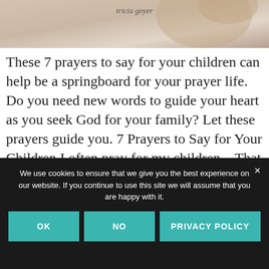[Figure (photo): Partial view of a book cover or lifestyle photo with a person, with italic handwritten author name 'tricia goyer' visible at the top]
These 7 prayers to say for your children can help be a springboard for your prayer life. Do you need new words to guide your heart as you seek God for your family? Let these prayers guide you. 7 Prayers to Say for Your Children I often pray for my children... That they are healthy... [Continue Reading]
We use cookies to ensure that we give you the best experience on our website. If you continue to use this site we will assume that you are happy with it.
OK
NO
PRIVACY POLICY